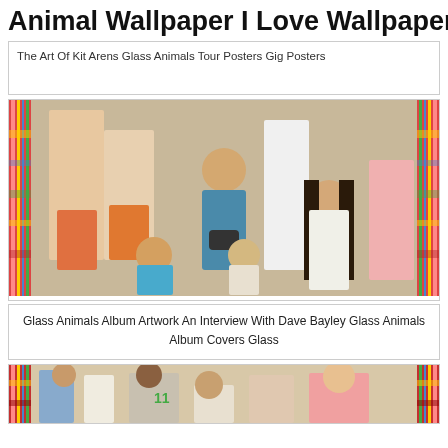Animal Wallpaper I Love Wallpaper
The Art Of Kit Arens Glass Animals Tour Posters Gig Posters
[Figure (photo): Group photo with colorful decorative border. People in retro-style clothing including a man in orange striped swim trunks, women in orange and white outfits, a man with camera in teal jacket, children, and a woman with long dark hair.]
Glass Animals Album Artwork An Interview With Dave Bayley Glass Animals Album Covers Glass
[Figure (photo): Another group photo with the same colorful decorative border on sides, showing people in various outfits including a man in blue suit, woman in white jacket, person in green jersey number 11, and others.]